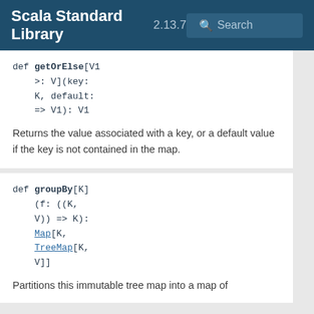Scala Standard Library 2.13.7 Search
def getOrElse[V1 >: V](key: K, default: => V1): V1
Returns the value associated with a key, or a default value if the key is not contained in the map.
def groupBy[K](f: ((K, V)) => K): Map[K, TreeMap[K, V]]
Partitions this immutable tree map into a map of